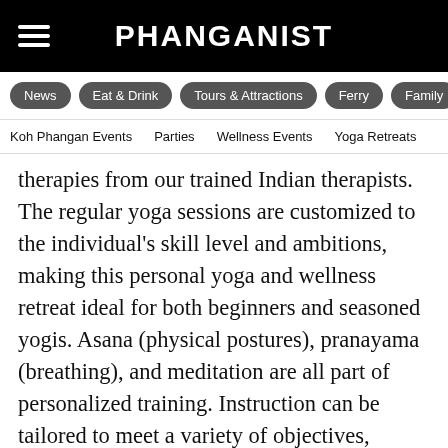PHANGANIST
News | Eat & Drink | Tours & Attractions | Ferry | Family
Koh Phangan Events | Parties | Wellness Events | Yoga Retreats
therapies from our trained Indian therapists. The regular yoga sessions are customized to the individual's skill level and ambitions, making this personal yoga and wellness retreat ideal for both beginners and seasoned yogis. Asana (physical postures), pranayama (breathing), and meditation are all part of personalized training. Instruction can be tailored to meet a variety of objectives, including overcoming physical limitations, establishing a routine home practice, and deepening and intensifying current practice.